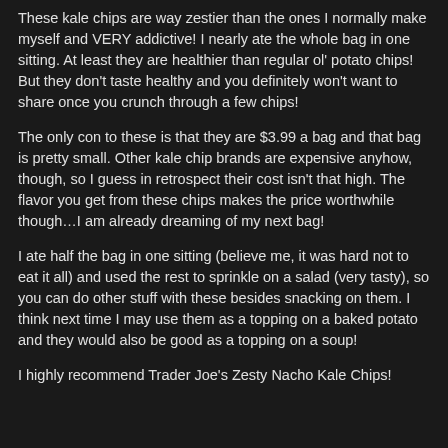These kale chips are way zestier than the ones I normally make myself and VERY addictive! I nearly ate the whole bag in one sitting. At least they are healthier than regular ol' potato chips! But they don't taste healthy and you definitely won't want to share once you crunch through a few chips!
The only con to these is that they are $3.99 a bag and that bag is pretty small. Other kale chip brands are expensive anyhow, though, so I guess in retrospect their cost isn't that high. The flavor you get from these chips makes the price worthwhile though…I am already dreaming of my next bag!
I ate half the bag in one sitting (believe me, it was hard not to eat it all) and used the rest to sprinkle on a salad (very tasty), so you can do other stuff with these besides snacking on them. I think next time I may use them as a topping on a baked potato and they would also be good as a topping on a soup!
I highly recommend Trader Joe's Zesty Nacho Kale Chips!